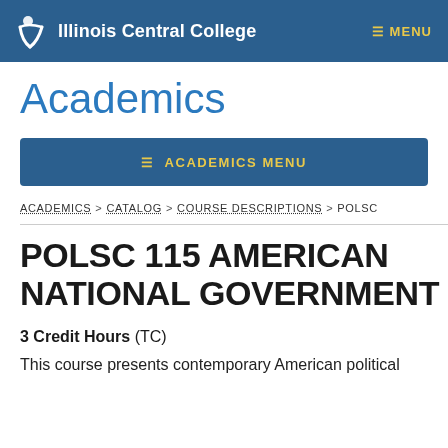Illinois Central College | MENU
Academics
≡ ACADEMICS MENU
ACADEMICS > CATALOG > COURSE DESCRIPTIONS > POLSC
POLSC 115 AMERICAN NATIONAL GOVERNMENT
3 Credit Hours (TC)
This course presents contemporary American political